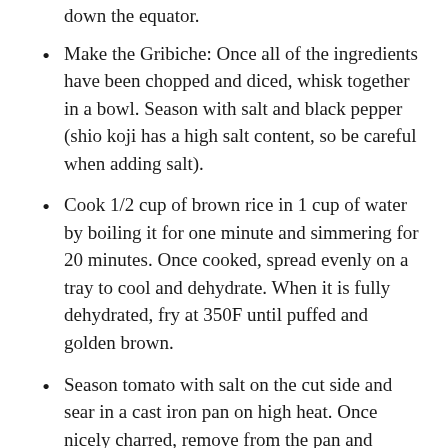down the equator.
Make the Gribiche: Once all of the ingredients have been chopped and diced, whisk together in a bowl. Season with salt and black pepper (shio koji has a high salt content, so be careful when adding salt).
Cook 1/2 cup of brown rice in 1 cup of water by boiling it for one minute and simmering for 20 minutes. Once cooked, spread evenly on a tray to cool and dehydrate. When it is fully dehydrated, fry at 350F until puffed and golden brown.
Season tomato with salt on the cut side and sear in a cast iron pan on high heat. Once nicely charred, remove from the pan and arrange on the plate.
Spoon the Gribiche over the tomatoes and sprinkle puffed rice on top. Garnish with frisee and chervil.